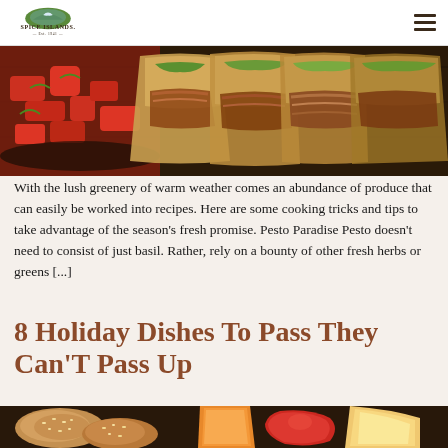Spice Islands — Est. 1941
[Figure (photo): Food photo showing tacos with tomato salsa on the left and shredded meat fillings, arranged in a row on a dark wooden surface]
With the lush greenery of warm weather comes an abundance of produce that can easily be worked into recipes. Here are some cooking tricks and tips to take advantage of the season's fresh promise. Pesto Paradise Pesto doesn't need to consist of just basil. Rather, rely on a bounty of other fresh herbs or greens [...]
8 Holiday Dishes To Pass They Can'T Pass Up
[Figure (photo): Food photo showing baked rolls with seeds and sliced apples or peaches in the background]